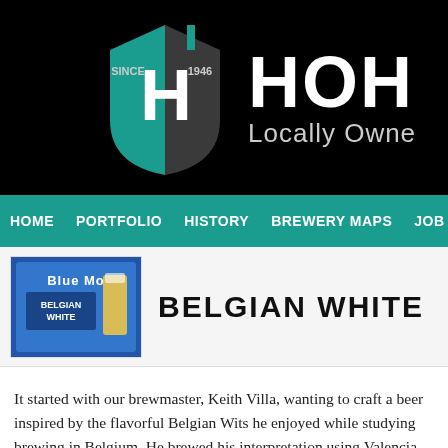[Figure (logo): HOH logo with shield (SINCE 1946) and text 'HOH Locally Owned']
HOME   PORTFOLIO   HISTORY   BREWERY MAPS   JOB OPPORT
[Figure (photo): Blue Moon Belgian White beer product image with beer glass]
BELGIAN WHITE
It started with our brewmaster, Keith Villa, wanting to craft a beer inspired by the flavorful Belgian Wits he enjoyed while studying brewing in Belgium. He brewed his interpretation using Valencia orange peel versus the traditional tart Curaçao orange peel, for a subtle sweetness, and added a touch of coriander to provide balance. Then he added oats and wheat to create a smooth, creamy finish that's inviting to the palate. As a final touch, he garnished the beer with an orange slice to